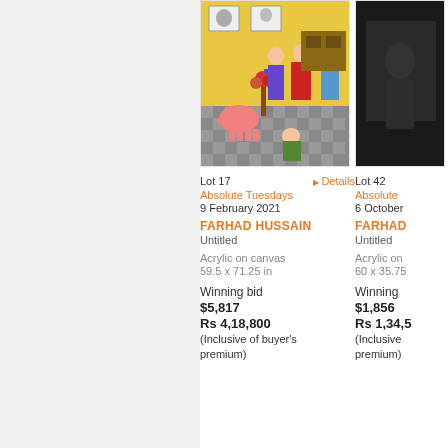[Figure (photo): Painting by Farhad Hussain showing a family scene with figures in a room, a pink elephant, flowers, and a checkered floor, in bright colors on canvas.]
Lot 17  ▶ Details
Absolute Tuesdays
9 February 2021
FARHAD HUSSAIN
Untitled
Acrylic on canvas
59.5 x 71.25 in
Winning bid
$5,817
Rs 4,18,800
(Inclusive of buyer's premium)
Lot 42
Absolute
6 October
FARHAD
Untitled
Acrylic on
60 x 35.75
Winning
$1,856
Rs 1,34,5
(Inclusive premium)